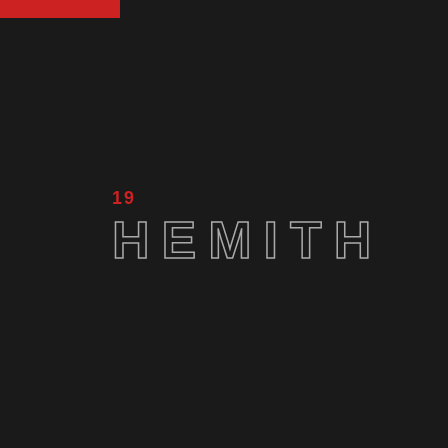[Figure (logo): Red horizontal bar in the top-left corner of a dark background]
19
HEMITH